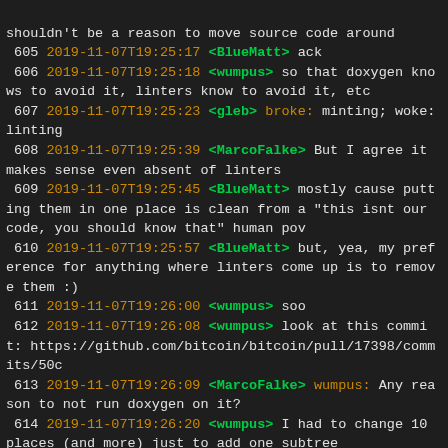shouldn't be a reason to move source code around
605 2019-11-07T19:25:17 <BlueMatt> ack
606 2019-11-07T19:25:18 <wumpus> so that doxygen knows to avoid it, linters know to avoid it, etc
607 2019-11-07T19:25:23 <gleb> broke: minting; woke: linting
608 2019-11-07T19:25:39 <MarcoFalke> But I agree it makes sense even absent of linters
609 2019-11-07T19:25:45 <BlueMatt> mostly cause putting them in one place is clean from a "this isnt our code, you should know that" human pov
610 2019-11-07T19:25:57 <BlueMatt> but, yea, my preference for anything where linters come up is to remove them :)
611 2019-11-07T19:26:00 <wumpus> soo
612 2019-11-07T19:26:08 <wumpus> look at this commit: https://github.com/bitcoin/bitcoin/pull/17398/commits/50c
613 2019-11-07T19:26:09 <MarcoFalke> wumpus: Any reason to not run doxygen on it?
614 2019-11-07T19:26:20 <wumpus> I had to change 10 places (and more) just to add one subtree
615 2019-11-07T19:26:28 <wumpus> MarcoFalke: because it's not our code
616 2019-11-07T19:26:39 <wumpus> I don't want general google documentation in our doxygen
617 2019-11-07T19:26:47 <jonasschnelli> Can't attend the meeting today...
618 2019-11-07T19:27:12 <wumpus> it's meant to